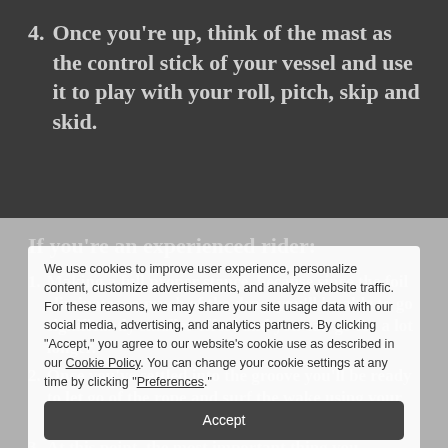4. Once you're up, think of the mast as the control stick of your vessel and use it to play with your roll, pitch, skip and skid.
If you're an experienced rider:
1. Making a full proper stance, because since the foil eliminates so much of the drag, you'll be able to go significantly smaller effort and you can go for a lot longer.
2. Once you've settled into the groove you'll be ready to let go of the rope and surf the wake using your own body weight.
3. At this point, the most important thing you
We use cookies to improve user experience, personalize content, customize advertisements, and analyze website traffic. For these reasons, we may share your site usage data with our social media, advertising, and analytics partners. By clicking "Accept," you agree to our website's cookie use as described in our Cookie Policy. You can change your cookie settings at any time by clicking "Preferences."